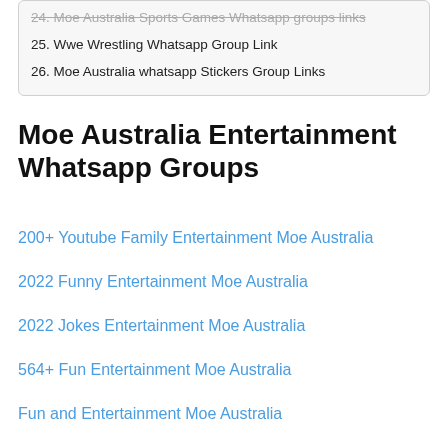25. Wwe Wrestling Whatsapp Group Link
26. Moe Australia whatsapp Stickers Group Links
Moe Australia Entertainment Whatsapp Groups
200+ Youtube Family Entertainment Moe Australia
2022 Funny Entertainment Moe Australia
2022 Jokes Entertainment Moe Australia
564+ Fun Entertainment Moe Australia
Fun and Entertainment Moe Australia
Top Clips Videos Moe Australia
Friday 2022 Movies update Moe Australia